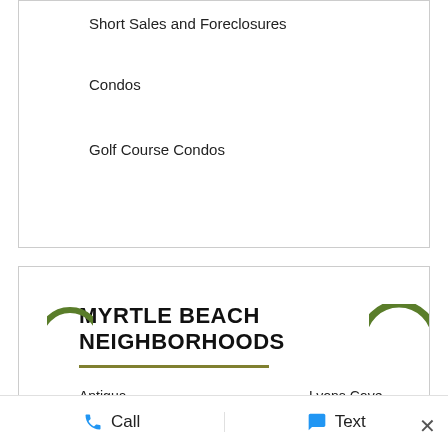Short Sales and Foreclosures
Condos
Golf Course Condos
MYRTLE BEACH NEIGHBORHOODS
Antigua
Lyons Cove
Arbor House
Myrtle Beach Golf & Yacht Club
Arcadia Ridge
Oak Park
Arcadian Shores
Pelican Harbor
Briarcliffe Acres
Call
Text